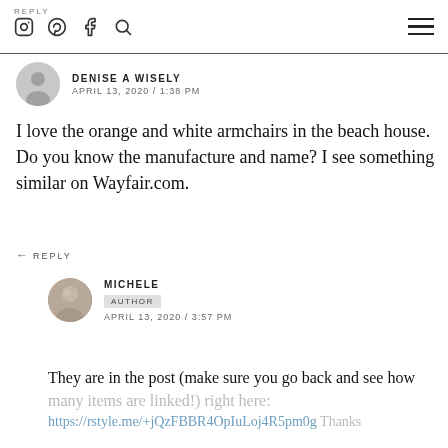REPLY | Instagram | Pinterest | Facebook | Search | Menu
DENISE A WISELY
APRIL 13, 2020 / 1:38 PM
I love the orange and white armchairs in the beach house. Do you know the manufacture and name? I see something similar on Wayfair.com.
REPLY
MICHELE
AUTHOR
APRIL 13, 2020 / 3:57 PM
They are in the post (make sure you go back and see how many items are linked!) right here: https://rstyle.me/+jQzFBBR4OpIuLoj4R5pm0g Thanks